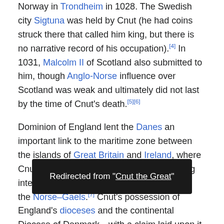Norway in Trondheim in 1028. The Swedish city Sigtuna was held by Cnut (he had coins struck there that called him king, but there is no narrative record of his occupation).[4] In 1031, Malcolm II of Scotland also submitted to him, though Anglo-Norse influence over Scotland was weak and ultimately did not last by the time of Cnut's death.[5][6]
Dominion of England lent the Danes an important link to the maritime zone between the islands of Great Britain and Ireland, where Cnut, like his father before him, had a strong interest and wielded much influence among the Norse–Gaels.[7] Cnut's possession of England's dioceses and the continental Diocese of Denmark—with a claim laid upon it by the Holy Roman Empire's Archdiocese of Hamburg-Bremen—was a source of great prestige and leverage among the secular and ecclesiastical magnates of Christendom (gaining notable concessions
Redirected from "Cnut the Great"